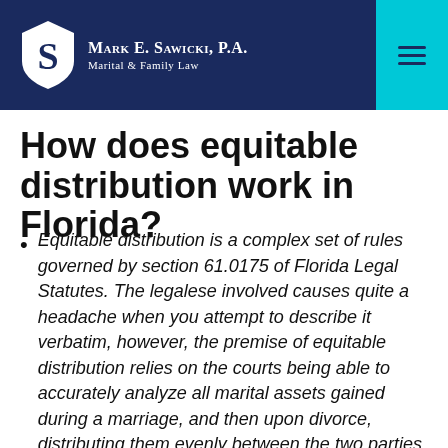Mark E. Sawicki, P.A. Marital & Family Law
How does equitable distribution work in Florida?
Equitable distribution is a complex set of rules governed by section 61.0175 of Florida Legal Statutes. The legalese involved causes quite a headache when you attempt to describe it verbatim, however, the premise of equitable distribution relies on the courts being able to accurately analyze all marital assets gained during a marriage, and then upon divorce, distributing them evenly between the two parties. It sounds simple in theory, but in practice it is much more difficult to place a firm dollar amount on it.